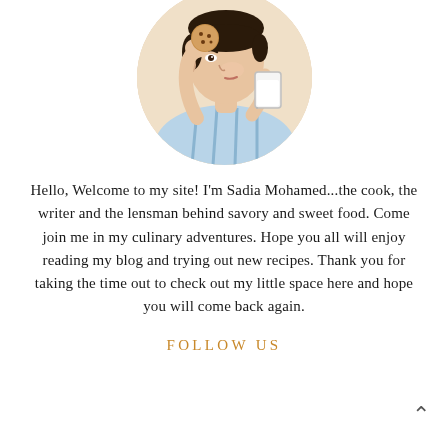[Figure (photo): Circular cropped photo of a young boy holding a cookie near his mouth and a glass of milk, wearing a light blue striped shirt.]
Hello, Welcome to my site! I'm Sadia Mohamed...the cook, the writer and the lensman behind savory and sweet food. Come join me in my culinary adventures. Hope you all will enjoy reading my blog and trying out new recipes. Thank you for taking the time out to check out my little space here and hope you will come back again.
FOLLOW US